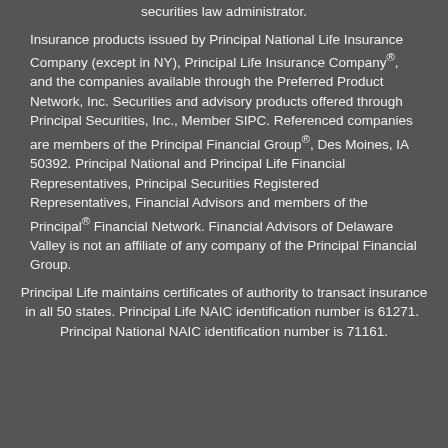securities law administrator.
Insurance products issued by Principal National Life Insurance Company (except in NY), Principal Life Insurance Company®, and the companies available through the Preferred Product Network, Inc. Securities and advisory products offered through Principal Securities, Inc., Member SIPC. Referenced companies are members of the Principal Financial Group®, Des Moines, IA 50392. Principal National and Principal Life Financial Representatives, Principal Securities Registered Representatives, Financial Advisors and members of the Principal® Financial Network. Financial Advisors of Delaware Valley is not an affiliate of any company of the Principal Financial Group.
Principal Life maintains certificates of authority to transact insurance in all 50 states. Principal Life NAIC identification number is 61271. Principal National NAIC identification number is 71161.